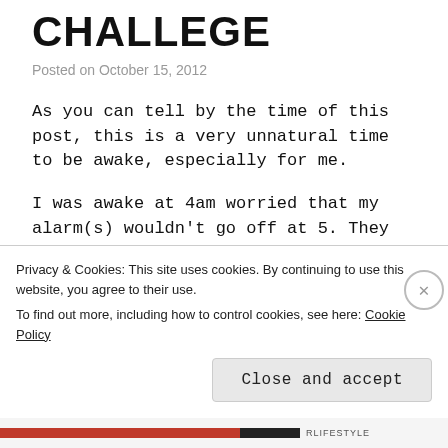CHALLEGE
Posted on October 15, 2012
As you can tell by the time of this post, this is a very unnatural time to be awake, especially for me.
I was awake at 4am worried that my alarm(s) wouldn't go off at 5. They did and my cardiovascular work started immediately! (gettit? boom boom)
Couldn't get the contact lenses in without feeling like I had poured acid in my eyes so resorted to the good old heavy frames
Privacy & Cookies: This site uses cookies. By continuing to use this website, you agree to their use.
To find out more, including how to control cookies, see here: Cookie Policy